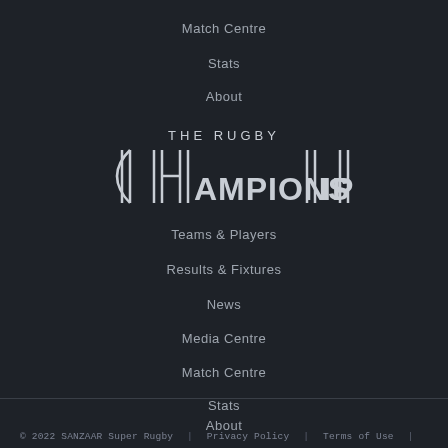Match Centre
Stats
About
[Figure (logo): The Rugby Championship logo with stylized text and vertical line elements forming letters]
Teams & Players
Results & Fixtures
News
Media Centre
Match Centre
Stats
About
© 2022 SANZAAR Super Rugby | Privacy Policy | Terms of Use |